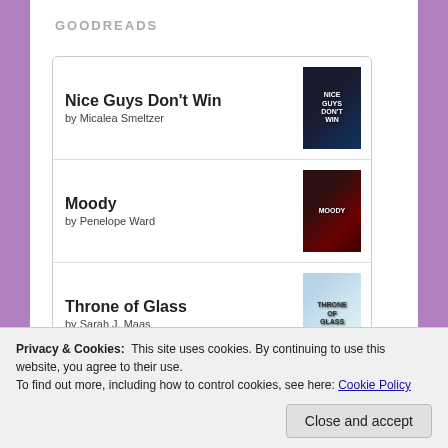GOODREADS
Nice Guys Don't Win by Micalea Smeltzer
Moody by Penelope Ward
Throne of Glass by Sarah J. Maas
Quintessentially
Privacy & Cookies: This site uses cookies. By continuing to use this website, you agree to their use.
To find out more, including how to control cookies, see here: Cookie Policy
Close and accept